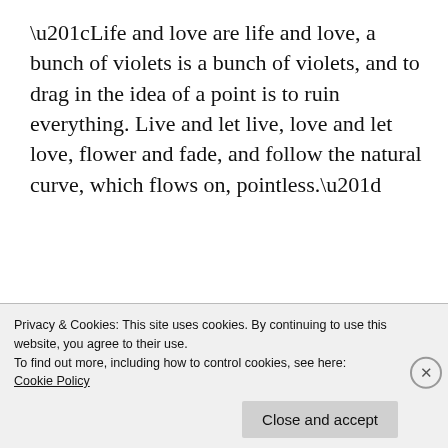“Life and love are life and love, a bunch of violets is a bunch of violets, and to drag in the idea of a point is to ruin everything. Live and let live, love and let love, flower and fade, and follow the natural curve, which flows on, pointless.”
I was very serious.
[Figure (screenshot): Partially visible black image strip showing bold italic letter W and another image block on the right, at the bottom of the page content area]
Privacy & Cookies: This site uses cookies. By continuing to use this website, you agree to their use.
To find out more, including how to control cookies, see here:
Cookie Policy
Close and accept